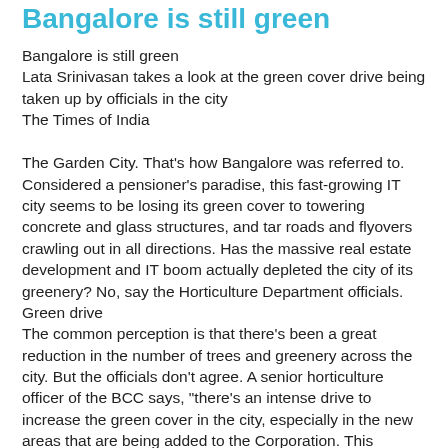Bangalore is still green
Bangalore is still green
Lata Srinivasan takes a look at the green cover drive being taken up by officials in the city
The Times of India
The Garden City. That's how Bangalore was referred to. Considered a pensioner's paradise, this fast-growing IT city seems to be losing its green cover to towering concrete and glass structures, and tar roads and flyovers crawling out in all directions. Has the massive real estate development and IT boom actually depleted the city of its greenery? No, say the Horticulture Department officials.
Green drive
The common perception is that there's been a great reduction in the number of trees and greenery across the city. But the officials don't agree. A senior horticulture officer of the BCC says, "there's an intense drive to increase the green cover in the city, especially in the new areas that are being added to the Corporation. This perception may exist